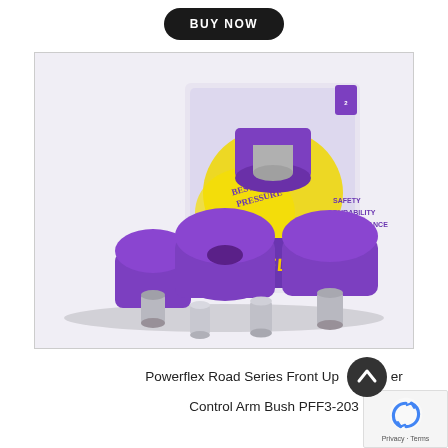BUY NOW
[Figure (photo): Powerflex Road Series Front Upper Control Arm Bush PFF3-203 product photo showing purple polyurethane bushes with metal sleeves and product packaging box featuring Powerflex branding with 'Best Under Pressure' text and yellow splat design]
Powerflex Road Series Front Upper Control Arm Bush PFF3-203